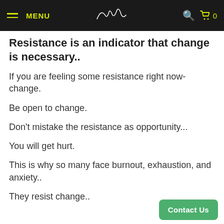MENU | [logo] | search | cart 0
Resistance is an indicator that change is necessary..
If you are feeling some resistance right now- change.
Be open to change.
Don't mistake the resistance as opportunity...
You will get hurt.
This is why so many face burnout, exhaustion, and anxiety..
They resist change..